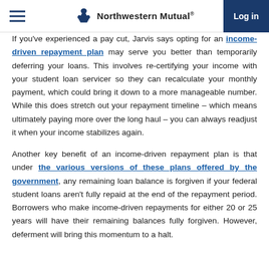Northwestern Mutual | Log in
If you've experienced a pay cut, Jarvis says opting for an income-driven repayment plan may serve you better than temporarily deferring your loans. This involves re-certifying your income with your student loan servicer so they can recalculate your monthly payment, which could bring it down to a more manageable number. While this does stretch out your repayment timeline – which means ultimately paying more over the long haul – you can always readjust it when your income stabilizes again.
Another key benefit of an income-driven repayment plan is that under the various versions of these plans offered by the government, any remaining loan balance is forgiven if your federal student loans aren't fully repaid at the end of the repayment period. Borrowers who make income-driven repayments for either 20 or 25 years will have their remaining balances fully forgiven. However, deferment will bring this momentum to a halt.